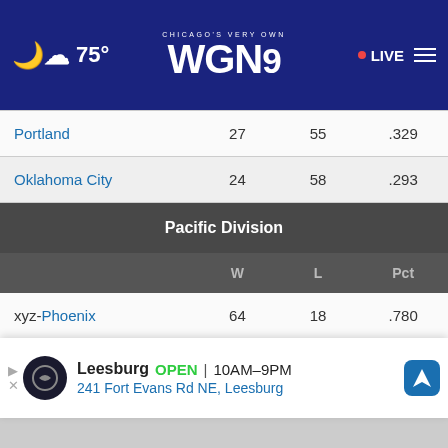Chicago's Very Own WGN9 — LIVE — 75°
|  | W | L | Pct |
| --- | --- | --- | --- |
| Portland | 27 | 55 | .329 |
| Oklahoma City | 24 | 58 | .293 |
Pacific Division
|  | W | L | Pct |
| --- | --- | --- | --- |
| xyz-Phoenix | 64 | 18 | .780 |
| x-Golden State | 53 | 29 | .646 |
| xyz-LA Clippers | 42 | 40 | .512 |
| LA Lakers | 33 | 49 | .402 |
| Sacramento |  |  |  |
[Figure (infographic): Advertisement banner for Leesburg store: OPEN 10AM-9PM, 241 Fort Evans Rd NE, Leesburg]